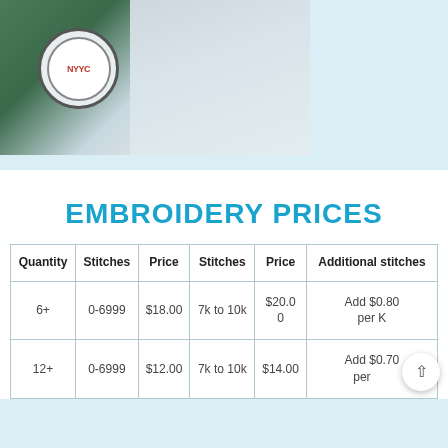[Figure (photo): Photo of embroidery machine with a green hoop holding a white cap with NYYC logo embroidered, with white fabric in background]
EMBROIDERY PRICES
| Quantity | Stitches | Price | Stitches | Price | Additional stitches |
| --- | --- | --- | --- | --- | --- |
| 6+ | 0-6999 | $18.00 | 7k to 10k | $20.00 | Add $0.80 per K |
| 12+ | 0-6999 | $12.00 | 7k to 10k | $14.00 | Add $0.70 per K |